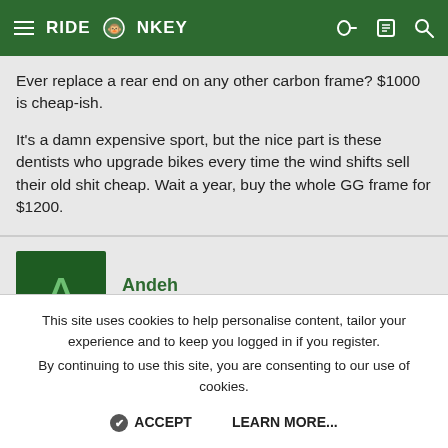RIDEMONKEY
Ever replace a rear end on any other carbon frame? $1000 is cheap-ish.

It's a damn expensive sport, but the nice part is these dentists who upgrade bikes every time the wind shifts sell their old shit cheap. Wait a year, buy the whole GG frame for $1200.
Andeh
Customer Title
Jan 13, 2022    #6,384
This site uses cookies to help personalise content, tailor your experience and to keep you logged in if you register.
By continuing to use this site, you are consenting to our use of cookies.

ACCEPT    LEARN MORE...